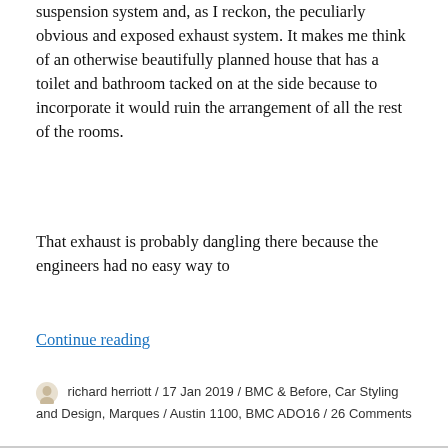suspension system and, as I reckon, the peculiarly obvious and exposed exhaust system. It makes me think of an otherwise beautifully planned house that has a toilet and bathroom tacked on at the side because to incorporate it would ruin the arrangement of all the rest of the rooms.
That exhaust is probably dangling there because the engineers had no easy way to
Continue reading
richard herriott / 17 Jan 2019 / BMC & Before, Car Styling and Design, Marques / Austin 1100, BMC ADO16 / 26 Comments